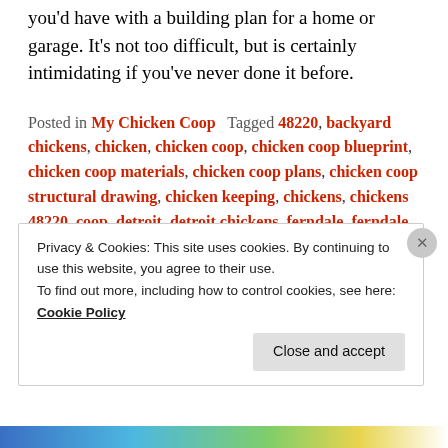you'd have with a building plan for a home or garage. It's not too difficult, but is certainly intimidating if you've never done it before.
Posted in My Chicken Coop   Tagged 48220, backyard chickens, chicken, chicken coop, chicken coop blueprint, chicken coop materials, chicken coop plans, chicken coop structural drawing, chicken keeping, chickens, chickens 48220, coop, detroit, detroit chickens, ferndale, ferndale chicken coop, ferndale chicken ordinance, ferndale ordinance, keeping chickens, materials, michigan, raising chickens, site map, site plan, structural drawing, urban agriculture,
Privacy & Cookies: This site uses cookies. By continuing to use this website, you agree to their use.
To find out more, including how to control cookies, see here:
Cookie Policy
Close and accept